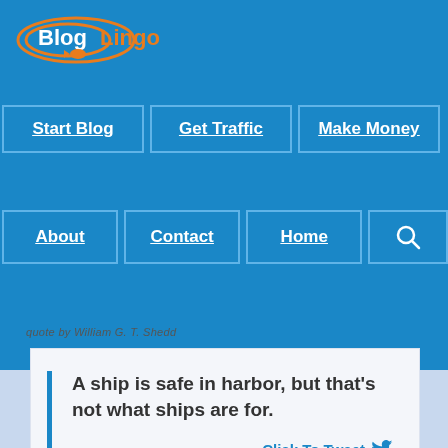[Figure (logo): BlogLingo logo with orange fish icon and blue/orange text]
Start Blog | Get Traffic | Make Money | About | Contact | Home | Search
quote by William G. T. Shedd
A ship is safe in harbor, but that's not what ships are for.
Click To Tweet